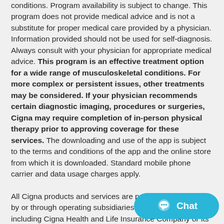conditions. Program availability is subject to change. This program does not provide medical advice and is not a substitute for proper medical care provided by a physician. Information provided should not be used for self-diagnosis. Always consult with your physician for appropriate medical advice. This program is an effective treatment option for a wide range of musculoskeletal conditions. For more complex or persistent issues, other treatments may be considered. If your physician recommends certain diagnostic imaging, procedures or surgeries, Cigna may require completion of in-person physical therapy prior to approving coverage for these services. The downloading and use of the app is subject to the terms and conditions of the app and the online store from which it is downloaded. Standard mobile phone carrier and data usage charges apply.

All Cigna products and services are provided by or through operating subsidiaries of Cigna, including Cigna Health and Life Insurance Company or its
[Figure (other): A teal/cyan rounded rectangle chat button with a speech bubble icon and the word 'Chat' in white text]